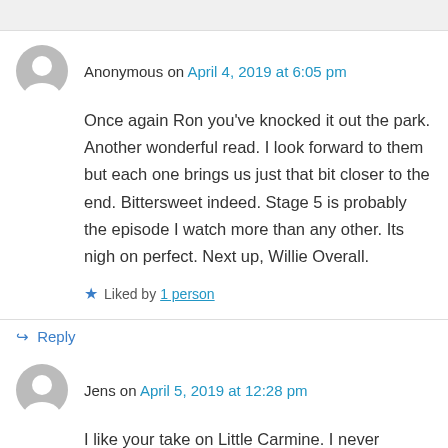Anonymous on April 4, 2019 at 6:05 pm
Once again Ron you've knocked it out the park. Another wonderful read. I look forward to them but each one brings us just that bit closer to the end. Bittersweet indeed. Stage 5 is probably the episode I watch more than any other. Its nigh on perfect. Next up, Willie Overall.
Liked by 1 person
Reply
Jens on April 5, 2019 at 12:28 pm
I like your take on Little Carmine. I never thought about him much before in the bigger context of